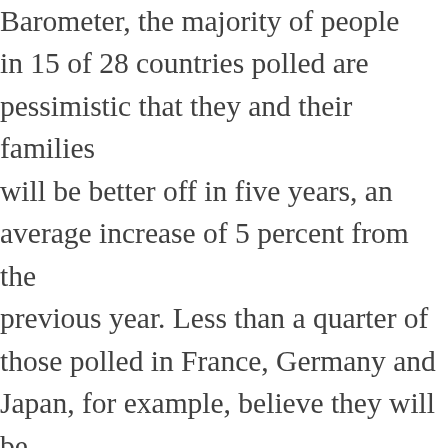Barometer, the majority of people in 15 of 28 countries polled are pessimistic that they and their families will be better off in five years, an average increase of 5 percent from the previous year. Less than a quarter of those polled in France, Germany and Japan, for example, believe they will be better off in 2025. In coming years, pessimism is likely to spread to developing countries with growing populations but with slowing progress in eradicating poverty and meeting basic development needs, particularly sub-Saharan Africa.
Potentially slower economic growth in coming years and smaller advances in human development in many countries are likely to exacerbate distrust of institutions and formal sources of authority for some members of the public. Trust in government institutions, which is highly